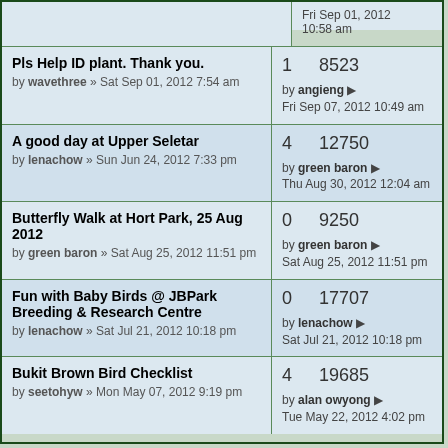Pls Help ID plant. Thank you. by wavethree » Sat Sep 01, 2012 7:54 am | 1 replies, 8523 views | by angieng Fri Sep 07, 2012 10:49 am
A good day at Upper Seletar by lenachow » Sun Jun 24, 2012 7:33 pm | 4 replies, 12750 views | by green baron Thu Aug 30, 2012 12:04 am
Butterfly Walk at Hort Park, 25 Aug 2012 by green baron » Sat Aug 25, 2012 11:51 pm | 0 replies, 9250 views | by green baron Sat Aug 25, 2012 11:51 pm
Fun with Baby Birds @ JBPark Breeding & Research Centre by lenachow » Sat Jul 21, 2012 10:18 pm | 0 replies, 17707 views | by lenachow Sat Jul 21, 2012 10:18 pm
Bukit Brown Bird Checklist by seetohyw » Mon May 07, 2012 9:19 pm | 4 replies, 19685 views | by alan owyong Tue May 22, 2012 4:02 pm